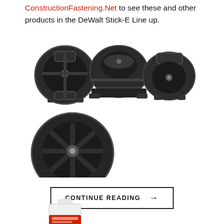ConstructionFastening.Net to see these and other products in the DeWalt Stick-E Line up.
[Figure (photo): Four black plastic construction fastener clips/anchors shown from different angles — three in a row on top and one larger view below]
CONTINUE READING →
[Figure (photo): White bottle/tube of Simpson construction product, partially visible at bottom of page]